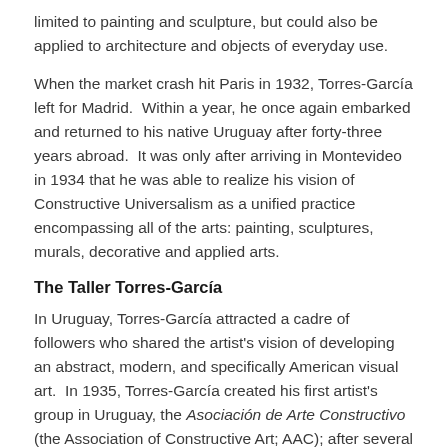limited to painting and sculpture, but could also be applied to architecture and objects of everyday use.
When the market crash hit Paris in 1932, Torres-García left for Madrid.  Within a year, he once again embarked and returned to his native Uruguay after forty-three years abroad.  It was only after arriving in Montevideo in 1934 that he was able to realize his vision of Constructive Universalism as a unified practice encompassing all of the arts: painting, sculptures, murals, decorative and applied arts.
The Taller Torres-García
In Uruguay, Torres-García attracted a cadre of followers who shared the artist's vision of developing an abstract, modern, and specifically American visual art.  In 1935, Torres-García created his first artist's group in Uruguay, the Asociación de Arte Constructivo (the Association of Constructive Art; AAC); after several